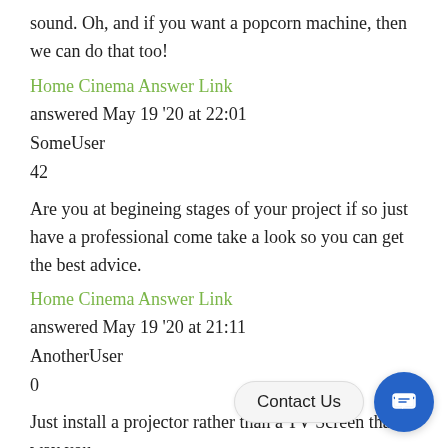sound. Oh, and if you want a popcorn machine, then we can do that too!
Home Cinema Answer Link
answered May 19 '20 at 22:01
SomeUser
42
Are you at begineing stages of your project if so just have a professional come take a look so you can get the best advice.
Home Cinema Answer Link
answered May 19 '20 at 21:11
AnotherUser
0
Just install a projector rather than a TV Screen that way you